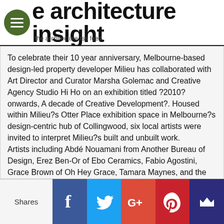the architecture insight
the architecture rss feed
To celebrate their 10 year anniversary, Melbourne-based design-led property developer Milieu has collaborated with Art Director and Curator Marsha Golemac and Creative Agency Studio Hi Ho on an exhibition titled ?2010? onwards, A decade of Creative Development?. Housed within Milieu?s Otter Place exhibition space in Melbourne?s design-centric hub of Collingwood, six local artists were invited to interpret Milieu?s built and unbuilt work.
Artists including Abdé Nouamani from Another Bureau of Design, Erez Ben-Or of Ebo Ceramics, Fabio Agostini, Grace Brown of Oh Hey Grace, Tamara Maynes, and the team at Make Models have reinterpreted each buiding using varied materials such as wood, metal, clay, porcelain, concrete, glass and paper.
?The outcome is a striking and creative reimagining of Milieu?s contribution to our city,? reflects Art Director Marsha Golemac. ?Each participant was required to present a sketch along with material
[Figure (other): Social sharing bar with Facebook, Twitter, Google+, Pinterest, and crown/bookmark icons]